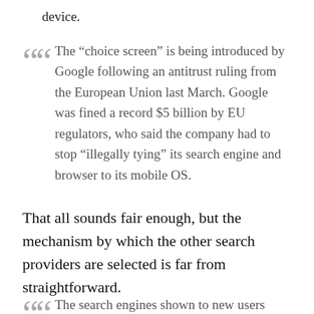device.
The “choice screen” is being introduced by Google following an antitrust ruling from the European Union last March. Google was fined a record $5 billion by EU regulators, who said the company had to stop “illegally tying” its search engine and browser to its mobile OS.
That all sounds fair enough, but the mechanism by which the other search providers are selected is far from straightforward.
The search engines shown to new users